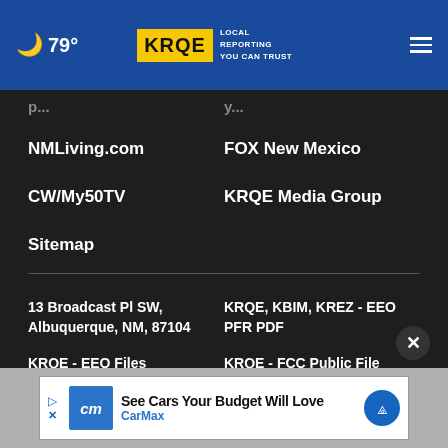79° KRQE LOCAL REPORTING YOU CAN TRUST
NMLiving.com
FOX New Mexico
CW/My50TV
KRQE Media Group
Sitemap
13 Broadcast Pl SW, Albuquerque, NM, 87104
KRQE, KBIM, KREZ - EEO PFR PDF
KRQE - EEO Files
KRQE - FCC Public File
KBIM - P[artial, cut off]
[Figure (screenshot): CarMax advertisement banner: 'See Cars Your Budget Will Love' with CarMax logo and navigation icon]